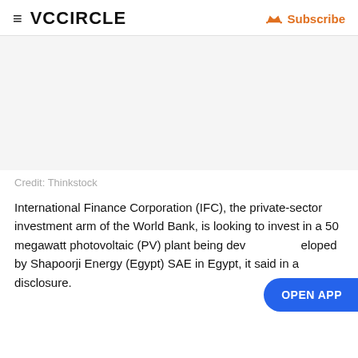≡ VCCIRCLE   Subscribe
[Figure (photo): Large image area (blank/white placeholder for a photo), followed by credit text 'Credit: Thinkstock']
Credit: Thinkstock
International Finance Corporation (IFC), the private-sector investment arm of the World Bank, is looking to invest in a 50 megawatt photovoltaic (PV) plant being developed by Shapoorji Energy (Egypt) SAE in Egypt, it said in a disclosure.